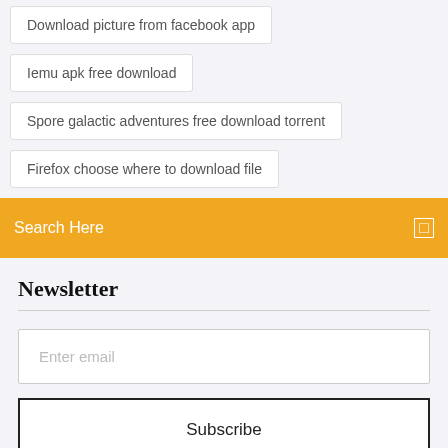Download picture from facebook app
Iemu apk free download
Spore galactic adventures free download torrent
Firefox choose where to download file
Search Here
Newsletter
Enter email
Subscribe